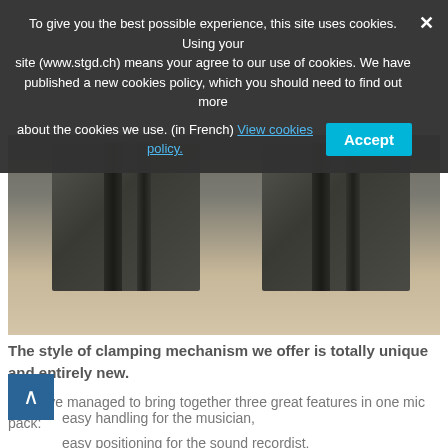To give you the best possible experience, this site uses cookies. Using your site (www.stgd.ch) means your agree to our use of cookies. We have published a new cookies policy, which you should need to find out more about the cookies we use. (in French) View cookies policy.
[Figure (photo): Two dark metal clamping blocks with slots/grooves on a beige/tan surface]
The style of clamping mechanism we offer is totally unique and entirely new.
We have managed to bring together three great features in one mic pack:
easy handling for the musician,
easy positioning for the sound recordist,